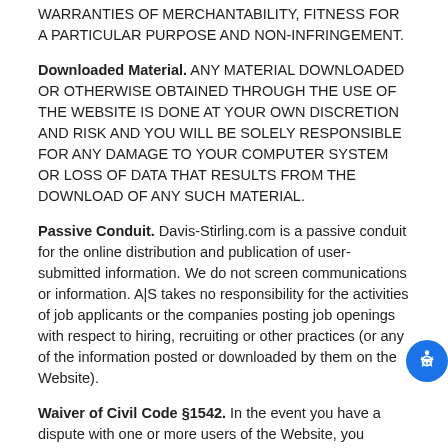WARRANTIES OF MERCHANTABILITY, FITNESS FOR A PARTICULAR PURPOSE AND NON-INFRINGEMENT.
Downloaded Material. ANY MATERIAL DOWNLOADED OR OTHERWISE OBTAINED THROUGH THE USE OF THE WEBSITE IS DONE AT YOUR OWN DISCRETION AND RISK AND YOU WILL BE SOLELY RESPONSIBLE FOR ANY DAMAGE TO YOUR COMPUTER SYSTEM OR LOSS OF DATA THAT RESULTS FROM THE DOWNLOAD OF ANY SUCH MATERIAL.
Passive Conduit. Davis-Stirling.com is a passive conduit for the online distribution and publication of user-submitted information. We do not screen communications or information. A|S takes no responsibility for the activities of job applicants or the companies posting job openings with respect to hiring, recruiting or other practices (or any of the information posted or downloaded by them on the Website).
Waiver of Civil Code §1542. In the event you have a dispute with one or more users of the Website, you release A|S, and their agents and employees from claims, demands and damages (actual and consequential, direct and indirect) of every kind and nature, known and unknown, suspected and unsuspected, disclosed and undisclosed, arising out of or in any way connected with such disputes. If you are a California resident, you hereby agree to waive California Civil Code §1542, which says: "A general release does not extend to claims which